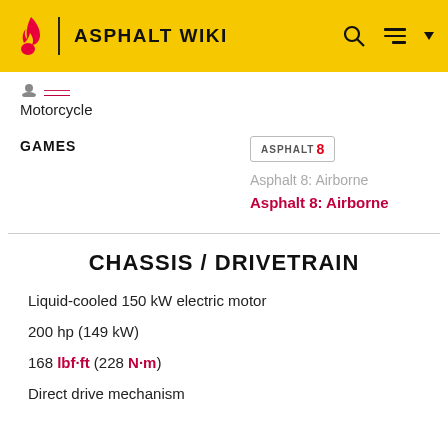ASPHALT WIKI
Motorcycle
GAMES
Asphalt 8: Airborne
Asphalt 8: Airborne
CHASSIS / DRIVETRAIN
Liquid-cooled 150 kW electric motor
200 hp (149 kW)
168 lbf·ft (228 N·m)
Direct drive mechanism